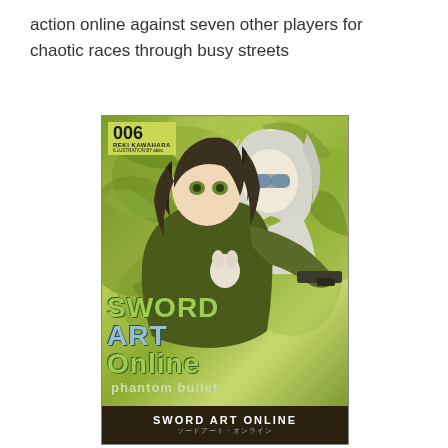action online against seven other players for chaotic races through busy streets
[Figure (illustration): Book cover for Sword Art Online: Phantom Bullet (volume 006) by Reki Kawahara. Anime-style illustration showing two characters — a dark-haired character in the foreground and a white-haired character in the background — surrounded by green foliage. The title 'SWORD ART ONLINE phantom bullet' appears on the cover along with a bottom banner reading 'SWORD ART ONLINE / ソードアート・オンライン'.]